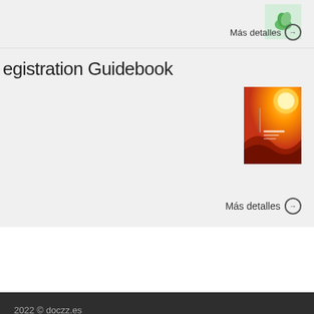[Figure (other): Thumbnail image of a document with green leaf icon]
Más detalles →
egistration Guidebook
[Figure (other): Thumbnail image of a book cover with orange/red gradient design]
Más detalles →
2022 © doczz.es
Sobre nosotros | DMCA / GDPR | Abuso